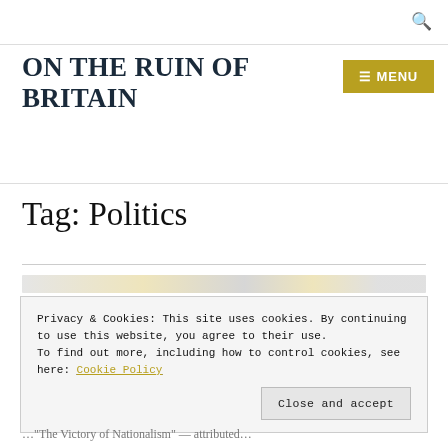ON THE RUIN OF BRITAIN
ON THE RUIN OF BRITAIN
Tag: Politics
Privacy & Cookies: This site uses cookies. By continuing to use this website, you agree to their use.
To find out more, including how to control cookies, see here: Cookie Policy
Close and accept